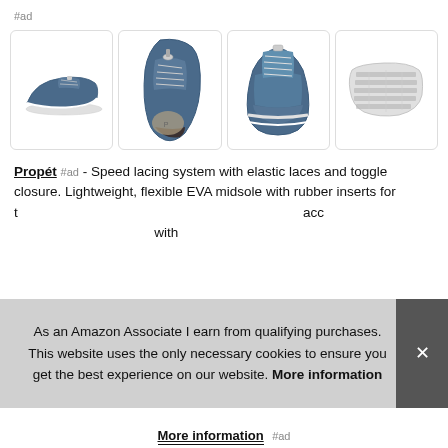#ad
[Figure (photo): Four product images of a blue Propét athletic/walking shoe shown from different angles: side view, top-down view, front view, and sole view. Each image is in a white rounded-rectangle card with a thin border.]
Propét #ad - Speed lacing system with elastic laces and toggle closure. Lightweight, flexible EVA midsole with rubber inserts for traction. Seamless, breathable mesh upper with accommodating toe box. Removable insole with cushioning with
As an Amazon Associate I earn from qualifying purchases. This website uses the only necessary cookies to ensure you get the best experience on our website. More information
More information